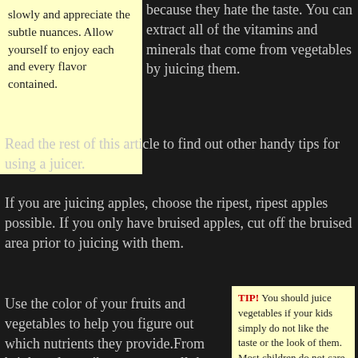slowly and appreciate the subtle nuances. Allow yourself to enjoy each and every flavor contained.
because they hate the taste. You can extract all of the vitamins and minerals that come from vegetables by juicing them.Read the rest of this article to find out other handy tips for using a juicer.
If you are juicing apples, choose the ripest, ripest apples possible. If you only have bruised apples, cut off the bruised area prior to juicing with them.
Use the color of your fruits and vegetables to help you figure out which nutrients they provide.From bright reds to vibrant greens, all these colored vegetables and fruits offer many kinds of minerals and nutrients. Using different
TIP! You should juice vegetables if your kids simply do not like the taste or the look of them. Most children do not care much for eating their vegetables.